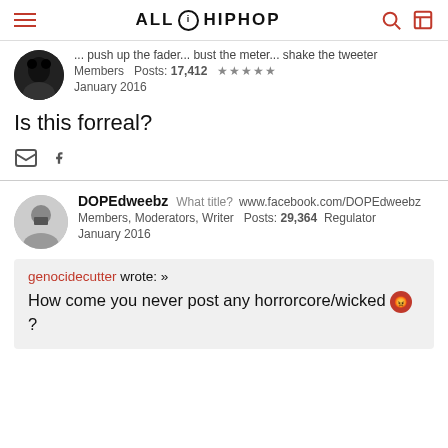ALL HIP HOP
... push up the fader... bust the meter... shake the tweeter
Members  Posts: 17,412  ★★★★★
January 2016
Is this forreal?
DOPEdweebz  What title?  www.facebook.com/DOPEdweebz
Members, Moderators, Writer  Posts: 29,364  Regulator
January 2016
genocidecutter wrote: » How come you never post any horrorcore/wicked 😡 ?